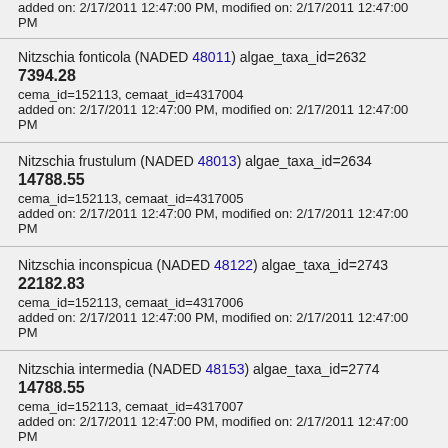added on: 2/17/2011 12:47:00 PM, modified on: 2/17/2011 12:47:00 PM
Nitzschia fonticola (NADED 48011) algae_taxa_id=2632
7394.28
cema_id=152113, cemaat_id=4317004
added on: 2/17/2011 12:47:00 PM, modified on: 2/17/2011 12:47:00 PM
Nitzschia frustulum (NADED 48013) algae_taxa_id=2634
14788.55
cema_id=152113, cemaat_id=4317005
added on: 2/17/2011 12:47:00 PM, modified on: 2/17/2011 12:47:00 PM
Nitzschia inconspicua (NADED 48122) algae_taxa_id=2743
22182.83
cema_id=152113, cemaat_id=4317006
added on: 2/17/2011 12:47:00 PM, modified on: 2/17/2011 12:47:00 PM
Nitzschia intermedia (NADED 48153) algae_taxa_id=2774
14788.55
cema_id=152113, cemaat_id=4317007
added on: 2/17/2011 12:47:00 PM, modified on: 2/17/2011 12:47:00 PM